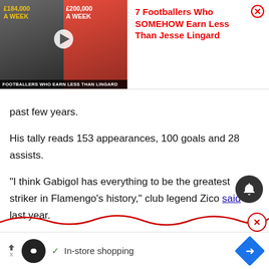[Figure (screenshot): Video thumbnail ad showing two footballers with salary text overlays: '£184,000 A WEEK' and '£200,000 A WEEK', with caption bar 'FOOTBALLERS WHO EARN LESS THAN LINGARD']
7 Footballers Who SOMEHOW Earn Less Than Jesse Lingard
past few years.
His tally reads 153 appearances, 100 goals and 28 assists.
"I think Gabigol has everything to be the greatest striker in Flamengo's history," club legend Zico said last year.
"It's getting there. His performance got better and better, consolidating himself as one of the greats.
[Figure (screenshot): Bottom advertisement banner with infinity icon, checkmark, 'In-store shopping' text, and blue arrow diamond icon]